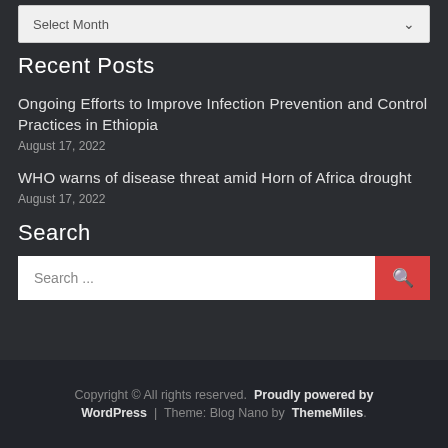Select Month
Recent Posts
Ongoing Efforts to Improve Infection Prevention and Control Practices in Ethiopia
August 17, 2022
WHO warns of disease threat amid Horn of Africa drought
August 17, 2022
Search
Search ...
Copyright © All rights reserved. Proudly powered by WordPress | Theme: Blog Nano by ThemeMiles.